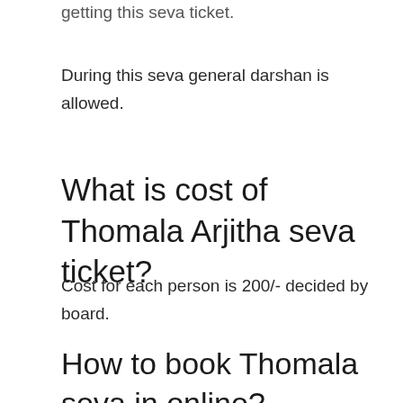getting this seva ticket.
During this seva general darshan is allowed.
What is cost of Thomala Arjitha seva ticket?
Cost for each person is 200/- decided by board.
How to book Thomala seva in online?